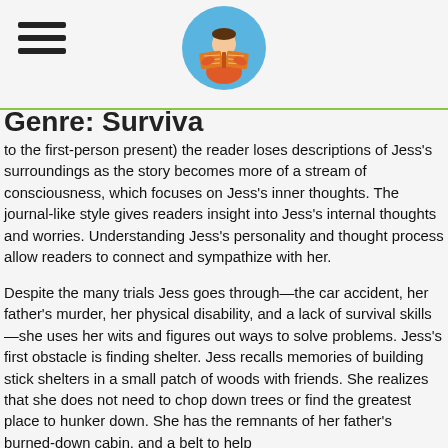Genre: Survival
[Figure (illustration): Cartoon illustration of a boy reading an open orange book, inside a blue circle, used as a logo/header icon]
to the first-person present) the reader loses descriptions of Jess's surroundings as the story becomes more of a stream of consciousness, which focuses on Jess's inner thoughts. The journal-like style gives readers insight into Jess's internal thoughts and worries. Understanding Jess's personality and thought process allow readers to connect and sympathize with her.
Despite the many trials Jess goes through—the car accident, her father's murder, her physical disability, and a lack of survival skills—she uses her wits and figures out ways to solve problems. Jess's first obstacle is finding shelter. Jess recalls memories of building stick shelters in a small patch of woods with friends. She realizes that she does not need to chop down trees or find the greatest place to hunker down. She has the remnants of her father's burned-down cabin, and a belt to help